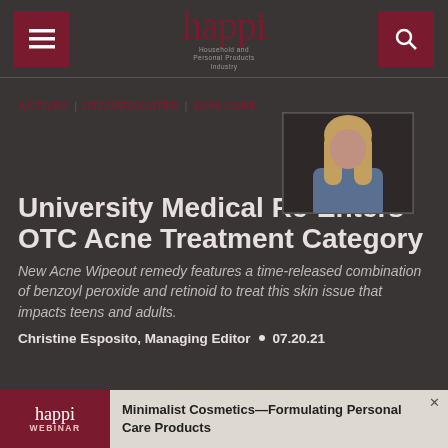happi — Household and Personal Products Industry
ACTIVES | OTC/MEDICATED | SKIN CARE
[Figure (photo): Woman with long hair, photo associated with acne treatment article]
University Medical Re-Enters OTC Acne Treatment Category
New Acne Wipeout remedy features a time-released combination of benzoyl peroxide and retinoid to treat this skin issue that impacts teens and adults.
Christine Esposito, Managing Editor  •  07.20.21
[Figure (screenshot): happi Webinar advertisement banner: Minimalist Cosmetics—Formulating Personal Care Products]